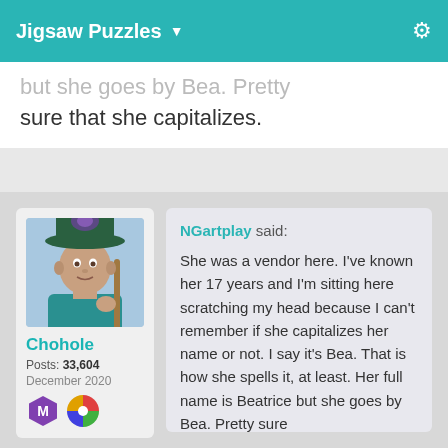Jigsaw Puzzles ▼
but she goes by Bea.  Pretty sure that she capitalizes.
[Figure (illustration): Avatar of forum user Chohole: a 3D-rendered character wearing a green wide-brimmed hat with purple decoration, holding a staff, wearing a teal outfit, looking directly at viewer]
Chohole
Posts: 33,604
December 2020
NGartplay said:

She was a vendor here. I've known her 17 years and I'm sitting here scratching my head because I can't remember if she capitalizes her name or not.  I say it's Bea.  That is how she spells it, at least.  Her full name is Beatrice but she goes by Bea.  Pretty sure